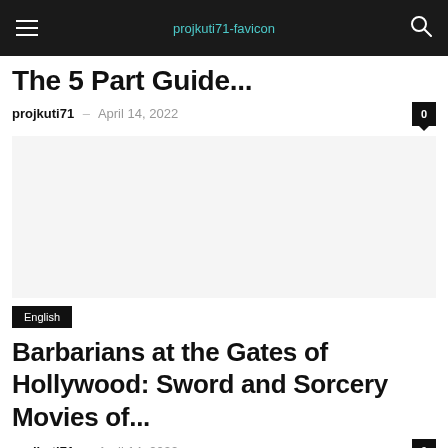projkuti71-favicon | projkuti71
The 5 Part Guide...
projekti71 - April 14, 2022
[Figure (photo): Article thumbnail image placeholder (white/light gray area)]
English
Barbarians at the Gates of Hollywood: Sword and Sorcery Movies of...
projekti71 - April 14, 2022